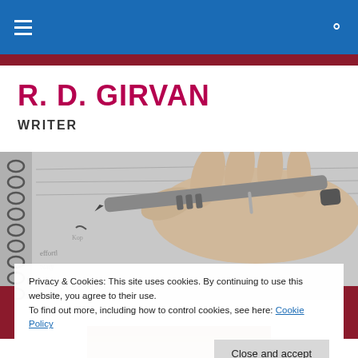Navigation bar with hamburger menu and search icon
R. D. GIRVAN
WRITER
[Figure (photo): Black and white photo of a hand holding a pen writing in a spiral-bound notebook]
Privacy & Cookies: This site uses cookies. By continuing to use this website, you agree to their use.
To find out more, including how to control cookies, see here: Cookie Policy
Close and accept
[Figure (photo): Partial view of a second photo at the bottom of the page, brownish tones]